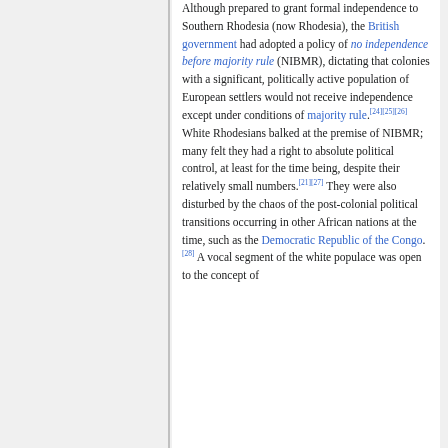Although prepared to grant formal independence to Southern Rhodesia (now Rhodesia), the British government had adopted a policy of no independence before majority rule (NIBMR), dictating that colonies with a significant, politically active population of European settlers would not receive independence except under conditions of majority rule.[24][25][26] White Rhodesians balked at the premise of NIBMR; many felt they had a right to absolute political control, at least for the time being, despite their relatively small numbers.[21][27] They were also disturbed by the chaos of the post-colonial political transitions occurring in other African nations at the time, such as the Democratic Republic of the Congo.[28] A vocal segment of the white populace was open to the concept of